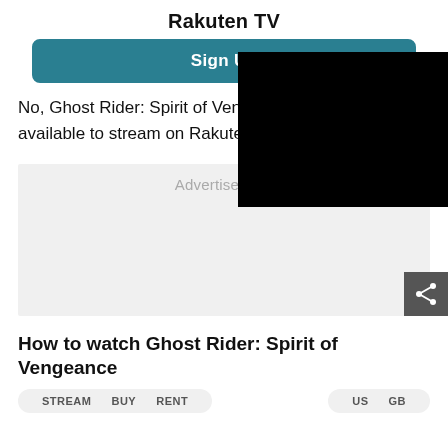Rakuten TV
Sign Up
[Figure (other): Black overlay rectangle covering part of the page]
No, Ghost Rider: Spirit of Veng[eance is not] available to stream on Rakuten[ TV]
Advertisement
[Figure (other): Share icon button (dark gray square with share/network icon in white)]
How to watch Ghost Rider: Spirit of Vengeance
STREAM   BUY   RENT
US   GB